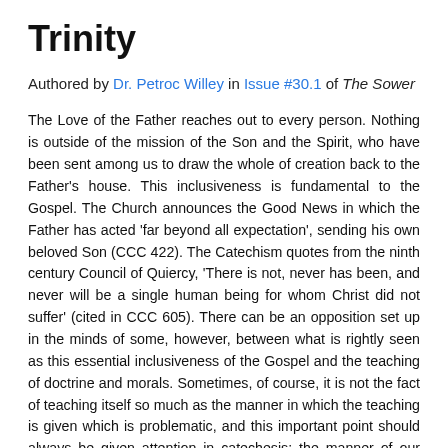Trinity
Authored by Dr. Petroc Willey in Issue #30.1 of The Sower
The Love of the Father reaches out to every person. Nothing is outside of the mission of the Son and the Spirit, who have been sent among us to draw the whole of creation back to the Father's house. This inclusiveness is fundamental to the Gospel. The Church announces the Good News in which the Father has acted 'far beyond all expectation', sending his own beloved Son (CCC 422). The Catechism quotes from the ninth century Council of Quiercy, 'There is not, never has been, and never will be a single human being for whom Christ did not suffer' (cited in CCC 605). There can be an opposition set up in the minds of some, however, between what is rightly seen as this essential inclusiveness of the Gospel and the teaching of doctrine and morals. Sometimes, of course, it is not the fact of teaching itself so much as the manner in which the teaching is given which is problematic, and this important point should always be given attention in catechesis: the manner of our teaching follows the pedagogy of God himself, who is respectful of our dignity and our freedom in the ways in which he addresses us. The General